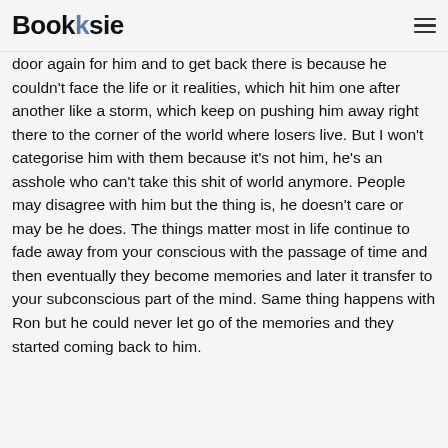Booksie
door again for him and to get back there is because he couldn't face the life or it realities, which hit him one after another like a storm, which keep on pushing him away right there to the corner of the world where losers live. But I won't categorise him with them because it's not him, he's an asshole who can't take this shit of world anymore. People may disagree with him but the thing is, he doesn't care or may be he does. The things matter most in life continue to fade away from your conscious with the passage of time and then eventually they become memories and later it transfer to your subconscious part of the mind. Same thing happens with Ron but he could never let go of the memories and they started coming back to him.